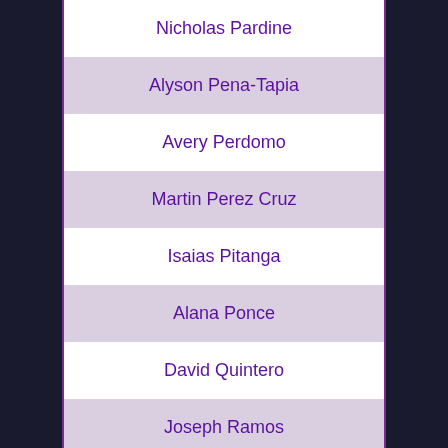Nicholas Pardine
Alyson Pena-Tapia
Avery Perdomo
Martin Perez Cruz
Isaias Pitanga
Alana Ponce
David Quintero
Joseph Ramos